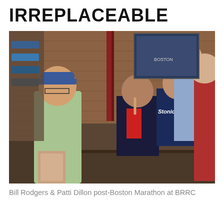IRREPLACEABLE
[Figure (photo): Group photo inside a running store (BRRC - Bill Rodgers Running Center) showing several people at a book signing table. A man in a green t-shirt and baseball cap stands in the foreground holding books. Two women sit behind a table stacked with books, one wearing a Stonic jersey pointing upward. Two men stand to the right, one in a blue shirt with glasses and one in a red shirt. Brick walls, running gear and a Boston Marathon poster are visible in the background.]
Bill Rodgers  & Patti Dillon post-Boston Marathon at BRRC